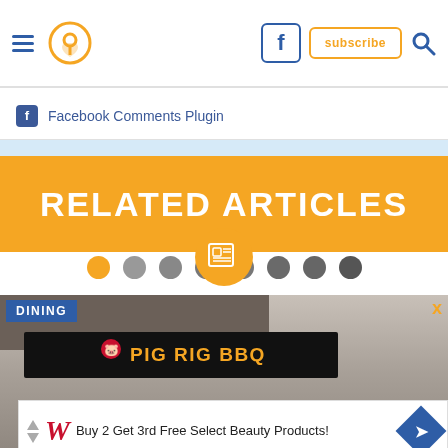Navigation header with hamburger menu, location pin icon, Facebook button, subscribe button, search icon
Facebook Comments Plugin
[Figure (screenshot): RELATED ARTICLES banner in orange with newspaper icon and pagination dots]
[Figure (photo): Pig Rig BBQ restaurant sign on building exterior with DINING label overlay]
[Figure (screenshot): Walgreens advertisement: Buy 2 Get 3rd Free Select Beauty Products!]